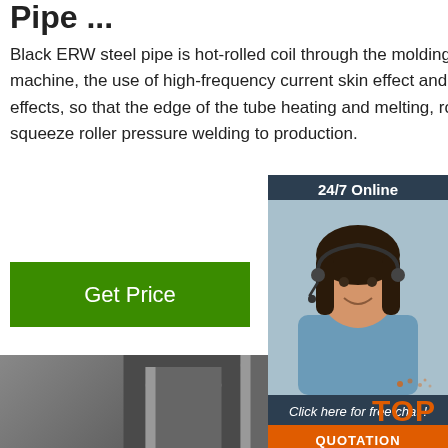Pipe ...
Black ERW steel pipe is hot-rolled coil through the molding machine, the use of high-frequency current skin effect and proximity effects, so that the edge of the tube heating and melting, role of squeeze roller pressure welding to production.
[Figure (illustration): Green 'Get Price' button]
[Figure (photo): Close-up photo of stacked steel rods/pipes with shiny metallic ends visible]
[Figure (infographic): 24/7 Online chat widget with woman wearing headset, 'Click here for free chat!' text, and orange QUOTATION button]